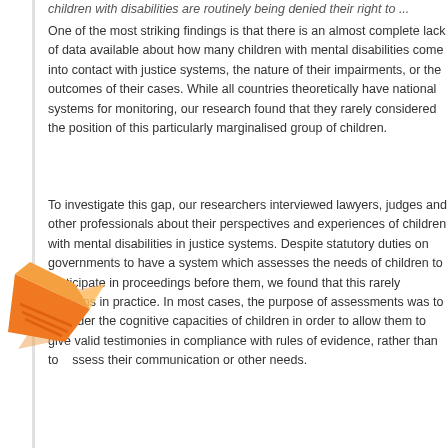children with disabilities are routinely being denied their right to ...
One of the most striking findings is that there is an almost complete lack of data available about how many children with mental disabilities come into contact with justice systems, the nature of their impairments, or the outcomes of their cases. While all countries theoretically have national systems for monitoring, our research found that they rarely considered the position of this particularly marginalised group of children.
To investigate this gap, our researchers interviewed lawyers, judges and other professionals about their perspectives and experiences of children with mental disabilities in justice systems. Despite statutory duties on governments to have a system which assesses the needs of children to participate in proceedings before them, we found that this rarely happens in practice. In most cases, the purpose of assessments was to consider the cognitive capacities of children in order to allow them to give valid testimonies in compliance with rules of evidence, rather than to assess their communication or other needs.
[Figure (logo): Orange origami-style logo/icon in the bottom left corner of the page]